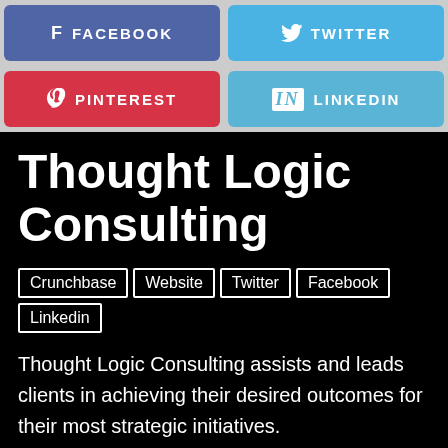[Figure (infographic): Social media share buttons: Facebook (blue-purple), Twitter (light blue), Pinterest (red), LinkedIn (blue)]
Thought Logic Consulting
Crunchbase | Website | Twitter | Facebook | Linkedin
Thought Logic Consulting assists and leads clients in achieving their desired outcomes for their most strategic initiatives.